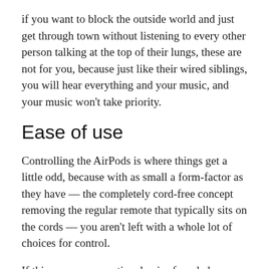if you want to block the outside world and just get through town without listening to every other person talking at the top of their lungs, these are not for you, because just like their wired siblings, you will hear everything and your music, and your music won't take priority.
Ease of use
Controlling the AirPods is where things get a little odd, because with as small a form-factor as they have — the completely cord-free concept removing the regular remote that typically sits on the cords — you aren't left with a whole lot of choices for control.
If this were a conventional pair of corded Bluetooth earphones that were linked by one centralised cable, there'd still be a remote, but we don't have that here.